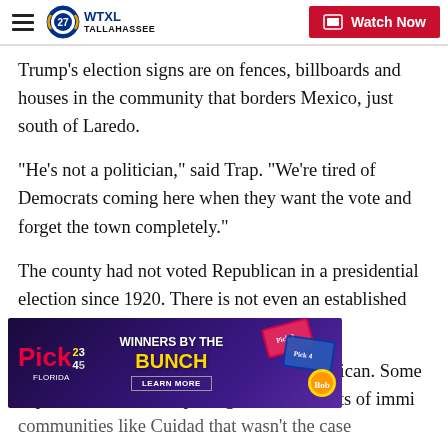WTXL TALLAHASSEE – Watch Now
Trump's election signs are on fences, billboards and houses in the community that borders Mexico, just south of Laredo.
“He’s not a politician,” said Trap. “We’re tired of Democrats coming here when they want the vote and forget the town completely.”
The county had not voted Republican in a presidential election since 1920. There is not even an established Republican Party in the community.
Nearly 95% of residents are Mexican American. Some experts believed Trump’s negative comments of immi[gration would hurt him in communities like Cuidad that wasn’t the case…]
[Figure (screenshot): Pick lottery advertisement banner: 'Winners by the Bunch – Learn More' with lottery ticket imagery on purple background]